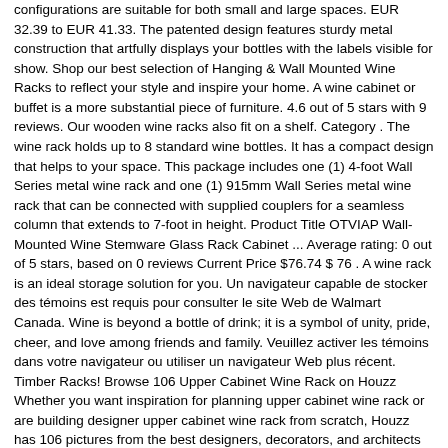configurations are suitable for both small and large spaces. EUR 32.39 to EUR 41.33. The patented design features sturdy metal construction that artfully displays your bottles with the labels visible for show. Shop our best selection of Hanging & Wall Mounted Wine Racks to reflect your style and inspire your home. A wine cabinet or buffet is a more substantial piece of furniture. 4.6 out of 5 stars with 9 reviews. Our wooden wine racks also fit on a shelf. Category . The wine rack holds up to 8 standard wine bottles. It has a compact design that helps to your space. This package includes one (1) 4-foot Wall Series metal wine rack and one (1) 915mm Wall Series metal wine rack that can be connected with supplied couplers for a seamless column that extends to 7-foot in height. Product Title OTVIAP Wall-Mounted Wine Stemware Glass Rack Cabinet ... Average rating: 0 out of 5 stars, based on 0 reviews Current Price $76.74 $ 76 . A wine rack is an ideal storage solution for you. Un navigateur capable de stocker des témoins est requis pour consulter le site Web de Walmart Canada. Wine is beyond a bottle of drink; it is a symbol of unity, pride, cheer, and love among friends and family. Veuillez activer les témoins dans votre navigateur ou utiliser un navigateur Web plus récent. Timber Racks! Browse 106 Upper Cabinet Wine Rack on Houzz Whether you want inspiration for planning upper cabinet wine rack or are building designer upper cabinet wine rack from scratch, Houzz has 106 pictures from the best designers, decorators, and architects in the country, including James Dalton Construction LLC and Timber Quest llc. Not sold in stores . Shop now. Photo Credit: www.brit.co . This package